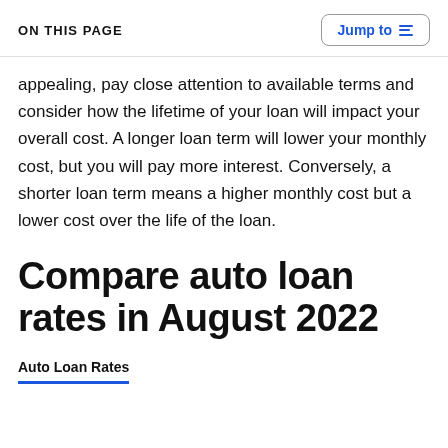ON THIS PAGE
appealing, pay close attention to available terms and consider how the lifetime of your loan will impact your overall cost. A longer loan term will lower your monthly cost, but you will pay more interest. Conversely, a shorter loan term means a higher monthly cost but a lower cost over the life of the loan.
Compare auto loan rates in August 2022
Auto Loan Rates